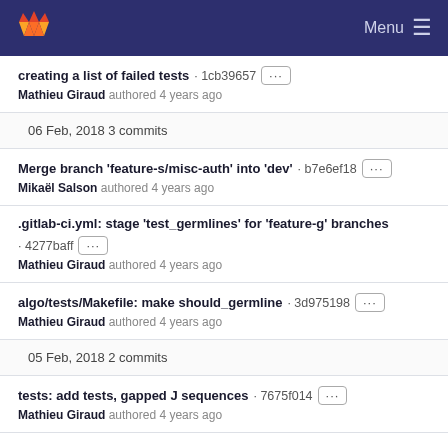Menu
creating a list of failed tests · 1cb39657 ···
Mathieu Giraud authored 4 years ago
06 Feb, 2018 3 commits
Merge branch 'feature-s/misc-auth' into 'dev' · b7e6ef18 ···
Mikaël Salson authored 4 years ago
.gitlab-ci.yml: stage 'test_germlines' for 'feature-g' branches · 4277baff ···
Mathieu Giraud authored 4 years ago
algo/tests/Makefile: make should_germline · 3d975198 ···
Mathieu Giraud authored 4 years ago
05 Feb, 2018 2 commits
tests: add tests, gapped J sequences · 7675f014 ···
Mathieu Giraud authored 4 years ago